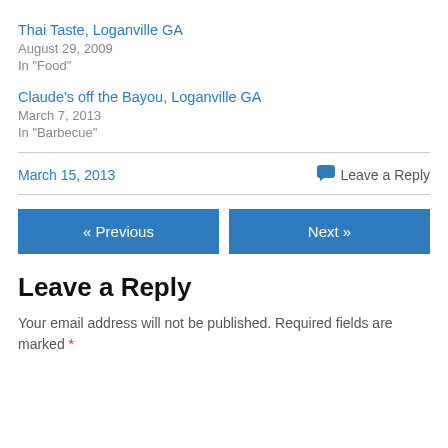Thai Taste, Loganville GA
August 29, 2009
In "Food"
Claude's off the Bayou, Loganville GA
March 7, 2013
In "Barbecue"
March 15, 2013
Leave a Reply
« Previous
Next »
Leave a Reply
Your email address will not be published. Required fields are marked *